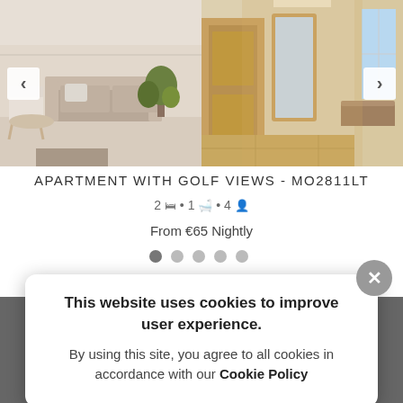[Figure (photo): Two interior apartment photos side by side: left shows a living room with sofa, dining chair and plant; right shows a hallway/corridor with wooden doors and flooring. Navigation arrows on each side.]
APARTMENT WITH GOLF VIEWS - MO2811LT
2 beds · 1 bath · 4 guests
From €65 Nightly
[Figure (infographic): Five dot pagination indicators, first dot filled dark, rest light grey]
This website uses cookies to improve user experience.
By using this site, you agree to all cookies in accordance with our Cookie Policy